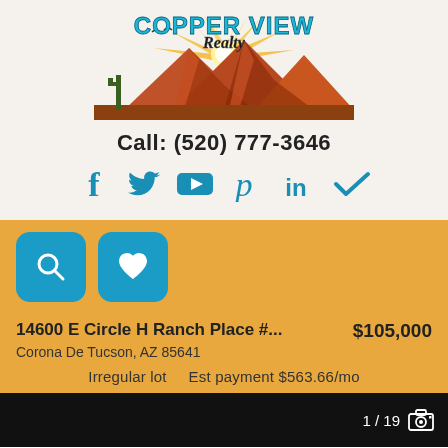[Figure (logo): Copper View Realty logo with mountain sunset landscape and blue/gold text]
Call: (520) 777-3646
[Figure (infographic): Social media icons: Facebook, Twitter, YouTube, Pinterest, LinkedIn, Checkmark]
[Figure (infographic): Two teal rounded-rectangle action buttons: magnifying glass (search) and heart (favorite)]
14600 E Circle H Ranch Place #...   $105,000
Corona De Tucson, AZ 85641
Irregular lot    Est payment $563.66/mo
[Figure (photo): Black photo strip showing 1 / 19 with camera icon]